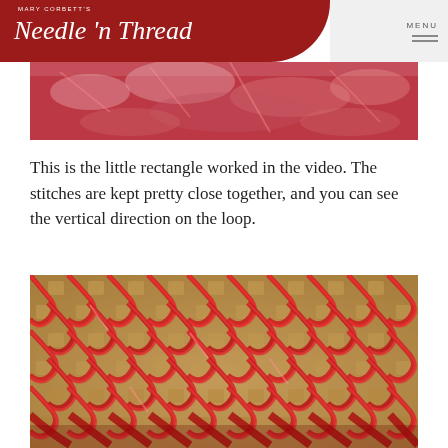Mary Corbett's Needle n Thread — MENU
[Figure (photo): Close-up photo of red embroidery stitches on fabric, top strip]
This is the little rectangle worked in the video. The stitches are kept pretty close together, and you can see the vertical direction on the loop.
[Figure (photo): Close-up macro photo of red looped embroidery stitches on tan/gold fabric showing the vertical direction of the loops]